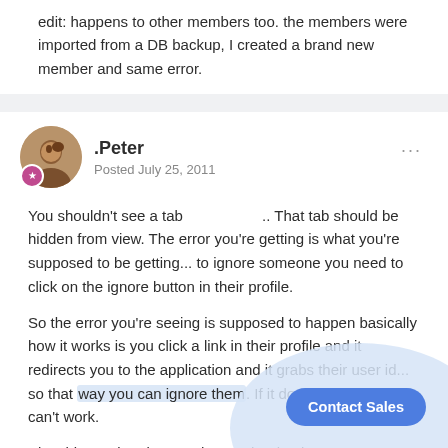edit: happens to other members too. the members were imported from a DB backup, I created a brand new member and same error.
.Peter
Posted July 25, 2011
You shouldn't see a tab .. That tab should be hidden from view. The error you're getting is what you're supposed to be getting... to ignore someone you need to click on the ignore button in their profile.
So the error you're seeing is supposed to happen basically how it works is you click a link in their profile and it redirects you to the application and it grabs their user id... so that way you can ignore them. If it doesn't have an ID it can't work.
Also this version doesn't change the database structure at all so overwrite and skip won't do anything.